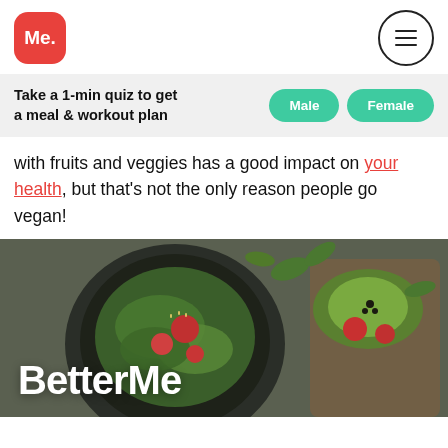[Figure (logo): BetterMe 'Me.' logo in white text on red rounded square]
Take a 1-min quiz to get a meal & workout plan
Male | Female (buttons)
with fruits and veggies has a good impact on your health, but that's not the only reason people go vegan!
[Figure (photo): Photo of a dark bowl with green salad, tomatoes, seeds, and avocado toast on the right, with BetterMe watermark text overlaid]